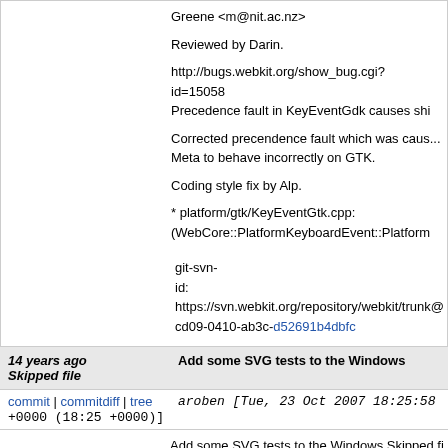Greene <m@nit.ac.nz>
Reviewed by Darin.
http://bugs.webkit.org/show_bug.cgi?id=15058
Precedence fault in KeyEventGdk causes shi...
Corrected precendence fault which was caus...
Meta to behave incorrectly on GTK.
Coding style fix by Alp.
* platform/gtk/KeyEventGtk.cpp:
(WebCore::PlatformKeyboardEvent::Platform...
git-svn-id: https://svn.webkit.org/repository/webkit/trunk@
cd09-0410-ab3c-d52691b4dbfc
14 years ago  Add some SVG tests to the Windows Skipped file
commit | commitdiff | tree  aroben [Tue, 23 Oct 2007 18:25:58 +0000 (18:25 +0000)]
Add some SVG tests to the Windows Skipped fi...
Reviewed by Oliver.